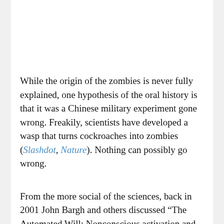While the origin of the zombies is never fully explained, one hypothesis of the oral history is that it was a Chinese military experiment gone wrong. Freakily, scientists have developed a wasp that turns cockroaches into zombies (Slashdot, Nature). Nothing can possibly go wrong.
From the more social of the sciences, back in 2001 John Bargh and others discussed “The Automated Will: Nonconscious activation and pursuit of behavioral goals” (14 page PDF)